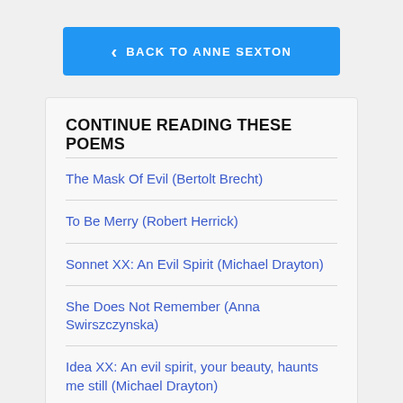BACK TO ANNE SEXTON
CONTINUE READING THESE POEMS
The Mask Of Evil (Bertolt Brecht)
To Be Merry (Robert Herrick)
Sonnet XX: An Evil Spirit (Michael Drayton)
She Does Not Remember (Anna Swirszczynska)
Idea XX: An evil spirit, your beauty, haunts me still (Michael Drayton)